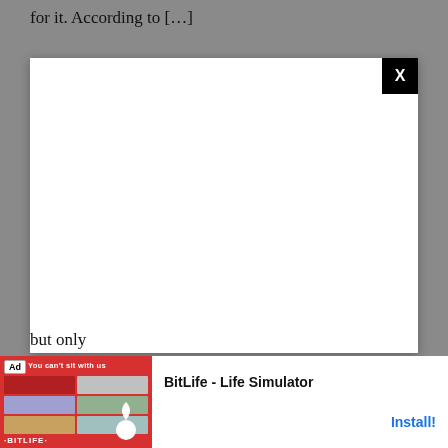for it. According to […]
[Figure (screenshot): A modal/popup overlay with white background and black X close button in top-right corner, displayed over a gray webpage background]
but only
[Figure (screenshot): Advertisement banner for BitLife - Life Simulator app. Shows red banner image with 'You can't sit with us' text and sperm icon logo, with Install button on right side. Contains Ad badge label.]